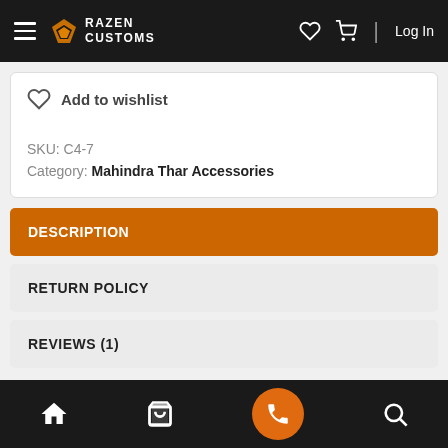Razen Customs — Log In
Add to wishlist
SKU: C4-7
Category: Mahindra Thar Accessories
DESCRIPTION
RETURN POLICY
REVIEWS (1)
Home | Shop | Call | Search